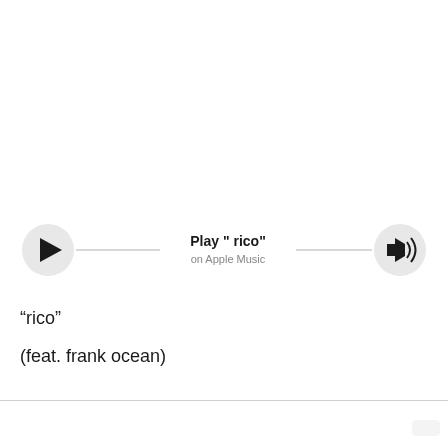[Figure (other): Music player UI widget showing play button on left, a horizontal line, track title 'Play " rico"' and subtitle 'on Apple Music' in center, and speaker/volume icon on right]
“rico”
(feat. frank ocean)